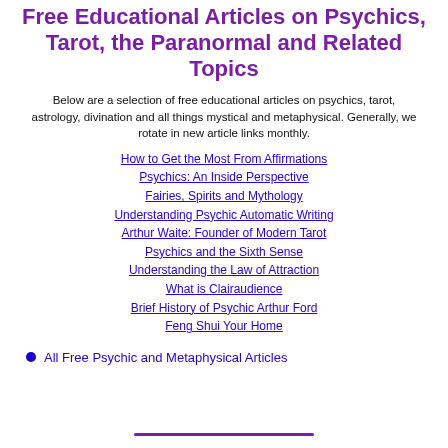Free Educational Articles on Psychics, Tarot, the Paranormal and Related Topics
Below are a selection of free educational articles on psychics, tarot, astrology, divination and all things mystical and metaphysical. Generally, we rotate in new article links monthly.
How to Get the Most From Affirmations
Psychics: An Inside Perspective
Fairies, Spirits and Mythology
Understanding Psychic Automatic Writing
Arthur Waite: Founder of Modern Tarot
Psychics and the Sixth Sense
Understanding the Law of Attraction
What is Clairaudience
Brief History of Psychic Arthur Ford
Feng Shui Your Home
All Free Psychic and Metaphysical Articles